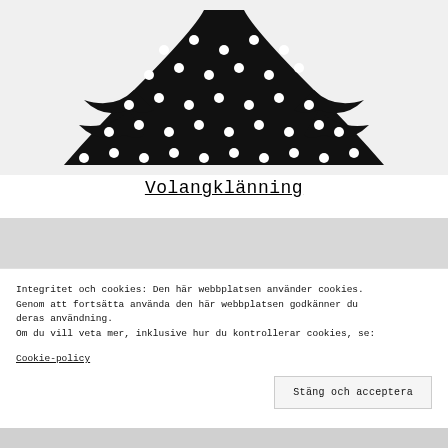[Figure (photo): Black and white polka dot ruffle dress product photo on light gray background, showing the upper skirt portion of the garment]
Volangklänning
[Figure (photo): Partially visible product photo with light gray background, second clothing item]
Integritet och cookies: Den här webbplatsen använder cookies. Genom att fortsätta använda den här webbplatsen godkänner du deras användning.
Om du vill veta mer, inklusive hur du kontrollerar cookies, se:
Cookie-policy
Stäng och acceptera